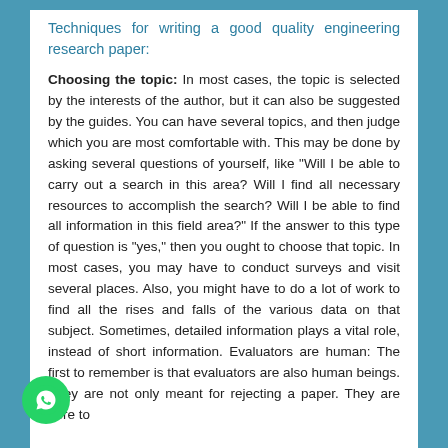Techniques for writing a good quality engineering research paper:
Choosing the topic: In most cases, the topic is selected by the interests of the author, but it can also be suggested by the guides. You can have several topics, and then judge which you are most comfortable with. This may be done by asking several questions of yourself, like "Will I be able to carry out a search in this area? Will I find all necessary resources to accomplish the search? Will I be able to find all information in this field area?" If the answer to this type of question is "yes," then you ought to choose that topic. In most cases, you may have to conduct surveys and visit several places. Also, you might have to do a lot of work to find all the rises and falls of the various data on that subject. Sometimes, detailed information plays a vital role, instead of short information. Evaluators are human: The first to remember is that evaluators are also human beings. They are not only meant for rejecting a paper. They are here to
[Figure (logo): WhatsApp circular green button with phone handset icon]